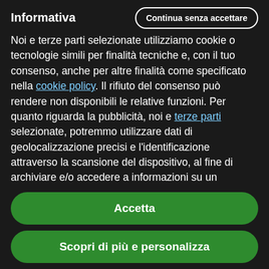Informativa
Noi e terze parti selezionate utilizziamo cookie o tecnologie simili per finalità tecniche e, con il tuo consenso, anche per altre finalità come specificato nella cookie policy. Il rifiuto del consenso può rendere non disponibili le relative funzioni. Per quanto riguarda la pubblicità, noi e terze parti selezionate, potremmo utilizzare dati di geolocalizzazione precisi e l'identificazione attraverso la scansione del dispositivo, al fine di archiviare e/o accedere a informazioni su un dispositivo e trattare dati personali come i tuoi dati di utilizzo, per le seguenti finalità pubblicitarie: annunci e contenuti personalizzati, valutazione degli annunci e del contenuto, osservazioni del pubblico e sviluppo di prodotti. Puoi liberamente prestare, rifiutare o revocare il tuo consenso, in qualsiasi momento, accedendo al pannello delle
Continua senza accettare
Accetta
Scopri di più e personalizza